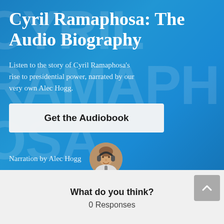[Figure (illustration): Blue gradient banner background with watermark text reading CYRIL RAMAPHOSA and a circular photo of narrator Alec Hogg wearing headphones at a microphone]
Cyril Ramaphosa: The Audio Biography
Listen to the story of Cyril Ramaphosa's rise to presidential power, narrated by our very own Alec Hogg.
Get the Audiobook
Narration by Alec Hogg
What do you think?
0 Responses